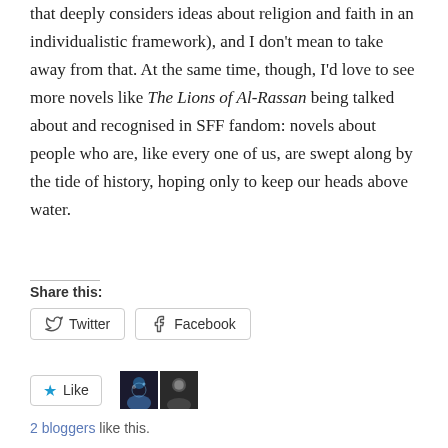that deeply considers ideas about religion and faith in an individualistic framework), and I don't mean to take away from that. At the same time, though, I'd love to see more novels like The Lions of Al-Rassan being talked about and recognised in SFF fandom: novels about people who are, like every one of us, are swept along by the tide of history, hoping only to keep our heads above water.
Share this:
[Figure (screenshot): Share buttons for Twitter and Facebook, and a Like button with two blogger avatars and text '2 bloggers like this.']